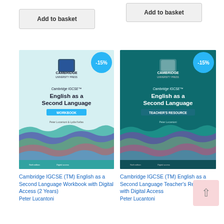[Figure (screenshot): Add to basket button (left)]
[Figure (screenshot): Add to basket button (right)]
[Figure (illustration): Cambridge IGCSE English as a Second Language Workbook book cover with -15% discount badge]
[Figure (illustration): Cambridge IGCSE English as a Second Language Teacher's Resource book cover with -15% discount badge]
Cambridge IGCSE (TM) English as a Second Language Workbook with Digital Access (2 Years)
Peter Lucantoni
Cambridge IGCSE (TM) English as a Second Language Teacher's Resource with Digital Access
Peter Lucantoni